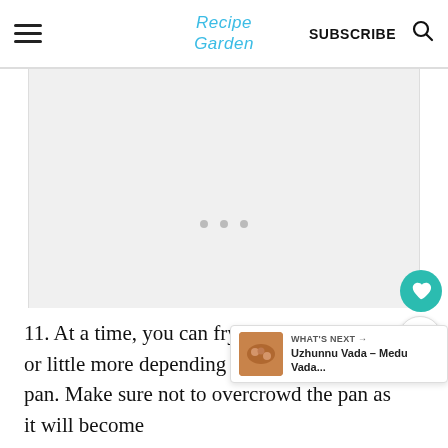Recipe Garden | SUBSCRIBE
[Figure (other): Advertisement placeholder area with three gray dots]
11. At a time, you can fry three to four vada or little more depending on the size of your pan. Make sure not to overcrowd the pan as it will become